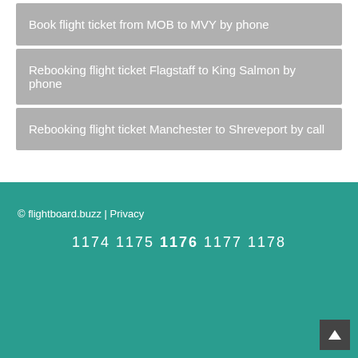Book flight ticket from MOB to MVY by phone
Rebooking flight ticket Flagstaff to King Salmon by phone
Rebooking flight ticket Manchester to Shreveport by call
© flightboard.buzz | Privacy
1174 1175 1176 1177 1178